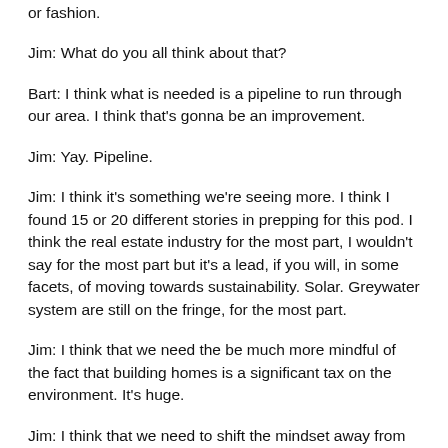or fashion.
Jim: What do you all think about that?
Bart: I think what is needed is a pipeline to run through our area. I think that's gonna be an improvement.
Jim: Yay. Pipeline.
Jim: I think it's something we're seeing more. I think I found 15 or 20 different stories in prepping for this pod. I think the real estate industry for the most part, I wouldn't say for the most part but it's a lead, if you will, in some facets, of moving towards sustainability. Solar. Greywater system are still on the fringe, for the most part.
Jim: I think that we need the be much more mindful of the fact that building homes is a significant tax on the environment. It's huge.
Jim: I think that we need to shift the mindset away from just how big of a house we can build but how good of a house can we build. Smaller spaces.Smarter spaces. More efficient.